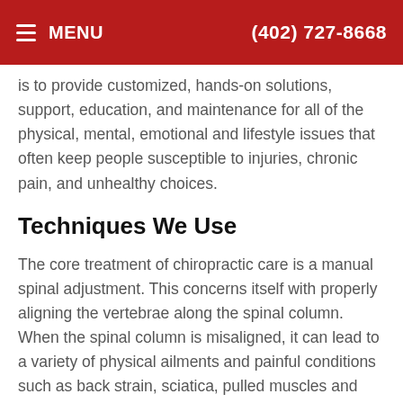≡ MENU   (402) 727-8668
is to provide customized, hands-on solutions, support, education, and maintenance for all of the physical, mental, emotional and lifestyle issues that often keep people susceptible to injuries, chronic pain, and unhealthy choices.
Techniques We Use
The core treatment of chiropractic care is a manual spinal adjustment. This concerns itself with properly aligning the vertebrae along the spinal column. When the spinal column is misaligned, it can lead to a variety of physical ailments and painful conditions such as back strain, sciatica, pulled muscles and chronic headaches. When the musculoskeletal structure is out of balance, it can also result in